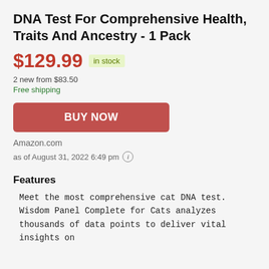DNA Test For Comprehensive Health, Traits And Ancestry - 1 Pack
$129.99  in stock
2 new from $83.50
Free shipping
BUY NOW
Amazon.com
as of August 31, 2022 6:49 pm
Features
Meet the most comprehensive cat DNA test. Wisdom Panel Complete for Cats analyzes thousands of data points to deliver vital insights on